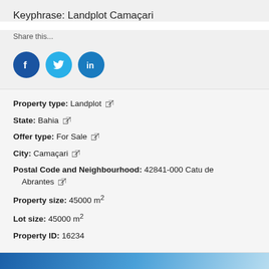Keyphrase: Landplot Camaçari
Share this...
[Figure (illustration): Three social media icons: Facebook (dark blue circle with white f), Twitter (cyan circle with white bird), LinkedIn (blue circle with white 'in')]
Property type:  Landplot
State:  Bahia
Offer type:  For Sale
City:  Camaçari
Postal Code and Neighbourhood:  42841-000 Catu de Abrantes
Property size:  45000 m²
Lot size:  45000 m²
Property ID:  16234
[Figure (photo): Partial blue/white abstract background image at bottom of page]